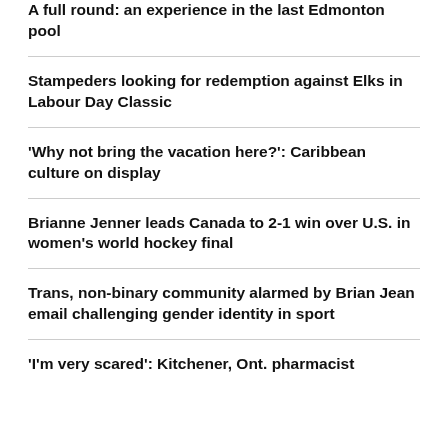A full round: an experience in the last Edmonton pool
Stampeders looking for redemption against Elks in Labour Day Classic
'Why not bring the vacation here?': Caribbean culture on display
Brianne Jenner leads Canada to 2-1 win over U.S. in women's world hockey final
Trans, non-binary community alarmed by Brian Jean email challenging gender identity in sport
'I'm very scared': Kitchener, Ont. pharmacist